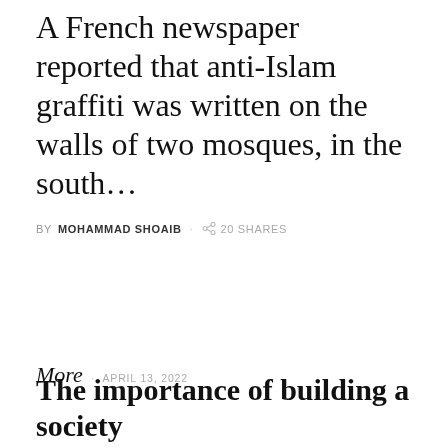A French newspaper reported that anti-Islam graffiti was written on the walls of two mosques, in the south…
BY MOHAMMAD SHOAIB · 20 SHARES
More · APRIL 13, 2022
The importance of building a society